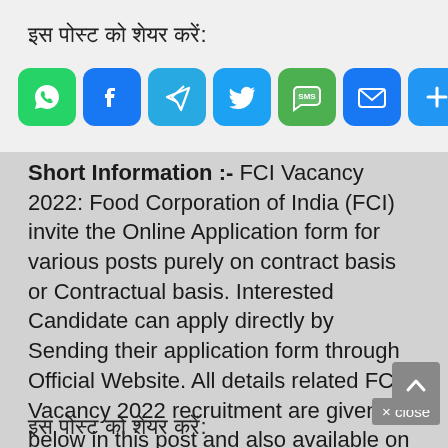इस पोस्ट को शेयर करें:
[Figure (infographic): Social share buttons: WhatsApp (green), Facebook (blue), Telegram (light blue), Twitter (blue), SMS (green), Email (blue), More (blue)]
Short Information :-  FCI Vacancy 2022: Food Corporation of India (FCI) invite the Online Application form for various posts purely on contract basis or Contractual basis. Interested Candidate can apply directly by Sending their application form through Official Website. All details related FCI Vacancy 2022 recruitment are given below in this post and also available on the official website of ... Read more
इस पोस्ट को शेयर करें: